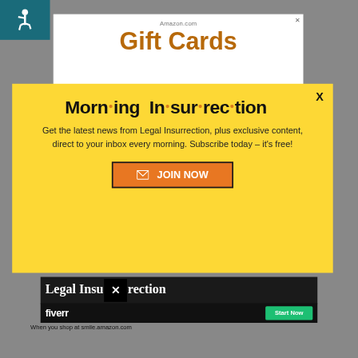[Figure (screenshot): Screenshot of a webpage with gray background, showing an Amazon Gift Cards banner ad at the top, a yellow popup modal for 'Morning Insurrection' newsletter subscription, a Legal Insurrection dark banner partially visible, a Fiverr banner ad, and bottom text about smile.amazon.com.]
Morn·ing In·sur·rec·tion
Get the latest news from Legal Insurrection, plus exclusive content, direct to your inbox every morning. Subscribe today – it's free!
JOIN NOW
Legal Insurrection
fiverr   Start Now
When you shop at smile.amazon.com